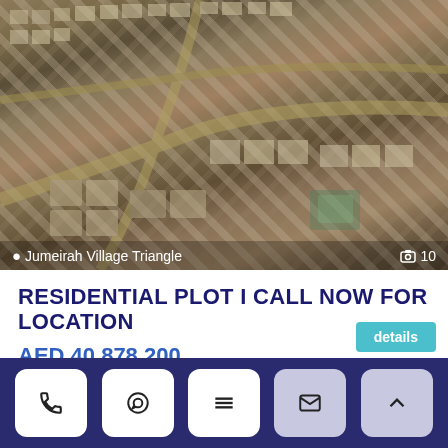[Figure (photo): Aerial view of Jumeirah Village Triangle residential development showing rows of white/beige buildings and roads]
Jumeirah Village Triangle
10
RESIDENTIAL PLOT I CALL NOW FOR LOCATION
AED 40,878,200
Bedroom Plot for Sale in , Jumeirah Village Triangle.
408,782.00 ft²
details